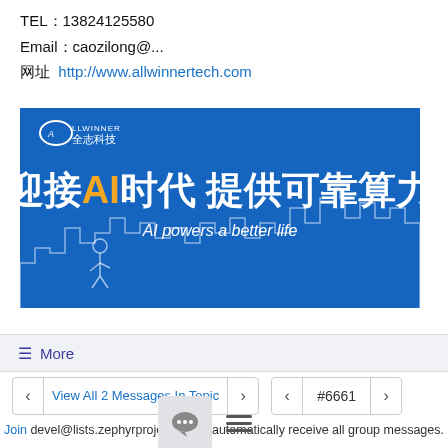TEL：13824125580
Email：caozilong@...
网址 http://www.allwinnertech.com
[Figure (illustration): Allwinner Technology (全志科技) blue banner with Chinese text '迎接AI时代 提供可靠算力' and English text 'AI powers a better life']
☰ More
< View All 2 Messages In Topic > < #6661 >
Join devel@lists.zephyrproject.org to automatically receive all group messages.